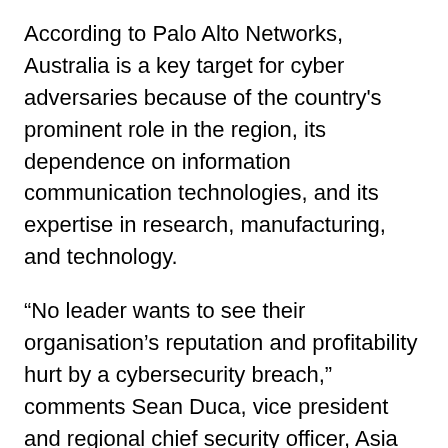According to Palo Alto Networks, Australia is a key target for cyber adversaries because of the country's prominent role in the region, its dependence on information communication technologies, and its expertise in research, manufacturing, and technology.
“No leader wants to see their organisation’s reputation and profitability hurt by a cybersecurity breach,” comments Sean Duca, vice president and regional chief security officer, Asia Pacific at Palo Alto Networks.
“In order to beat attackers, we must shift the economics of the problem by increasing our speed and defence, while slowing down and deterring the hackers,” he says.
Duca suggests organisations invest in three areas of security programs to mitigate cybersecurity risk: